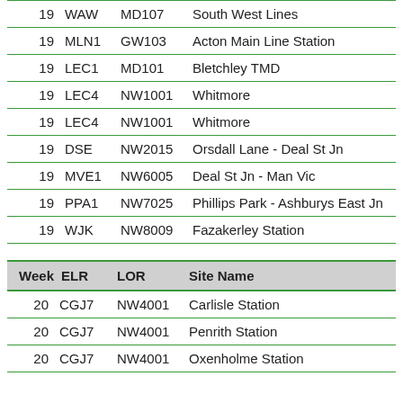| Week | ELR | LOR | Site Name |
| --- | --- | --- | --- |
| 19 | WAW | MD107 | South West Lines |
| 19 | MLN1 | GW103 | Acton Main Line Station |
| 19 | LEC1 | MD101 | Bletchley TMD |
| 19 | LEC4 | NW1001 | Whitmore |
| 19 | LEC4 | NW1001 | Whitmore |
| 19 | DSE | NW2015 | Orsdall Lane - Deal St Jn |
| 19 | MVE1 | NW6005 | Deal St Jn - Man Vic |
| 19 | PPA1 | NW7025 | Phillips Park - Ashburys East Jn |
| 19 | WJK | NW8009 | Fazakerley Station |
| Week | ELR | LOR | Site Name |
| --- | --- | --- | --- |
| 20 | CGJ7 | NW4001 | Carlisle Station |
| 20 | CGJ7 | NW4001 | Penrith Station |
| 20 | CGJ7 | NW4001 | Oxenholme Station |